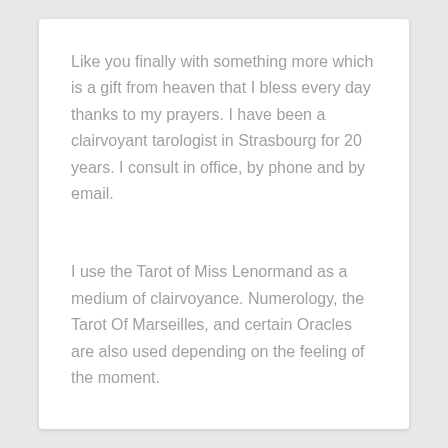Like you finally with something more which is a gift from heaven that I bless every day thanks to my prayers. I have been a clairvoyant tarologist in Strasbourg for 20 years. I consult in office, by phone and by email.
I use the Tarot of Miss Lenormand as a medium of clairvoyance. Numerology, the Tarot Of Marseilles, and certain Oracles are also used depending on the feeling of the moment.